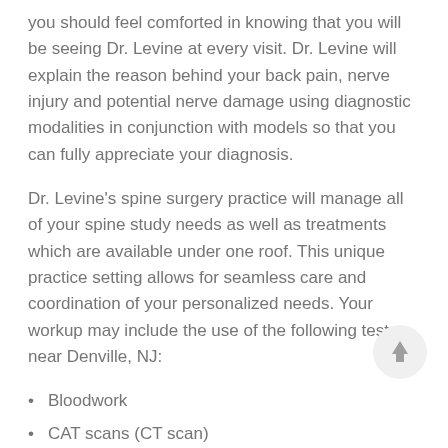you should feel comforted in knowing that you will be seeing Dr. Levine at every visit. Dr. Levine will explain the reason behind your back pain, nerve injury and potential nerve damage using diagnostic modalities in conjunction with models so that you can fully appreciate your diagnosis.
Dr. Levine's spine surgery practice will manage all of your spine study needs as well as treatments which are available under one roof. This unique practice setting allows for seamless care and coordination of your personalized needs. Your workup may include the use of the following tests near Denville, NJ:
Bloodwork
CAT scans (CT scan)
DEXA scan